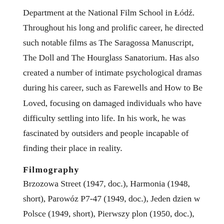Department at the National Film School in Łódź. Throughout his long and prolific career, he directed such notable films as The Saragossa Manuscript, The Doll and The Hourglass Sanatorium. Has also created a number of intimate psychological dramas during his career, such as Farewells and How to Be Loved, focusing on damaged individuals who have difficulty settling into life. In his work, he was fascinated by outsiders and people incapable of finding their place in reality.
Filmography
Brzozowa Street (1947, doc.), Harmonia (1948, short), Parowóz P7-47 (1949, doc.), Jeden dzien w Polsce (1949, short), Pierwszy plon (1950, doc.), My City (1950, doc.), Scentralizowana kontrola przebiegu produkcji (1951,